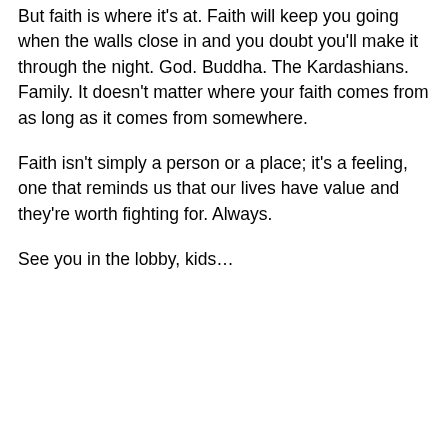But faith is where it's at. Faith will keep you going when the walls close in and you doubt you'll make it through the night. God. Buddha. The Kardashians. Family. It doesn't matter where your faith comes from as long as it comes from somewhere.
Faith isn't simply a person or a place; it's a feeling, one that reminds us that our lives have value and they're worth fighting for. Always.
See you in the lobby, kids…